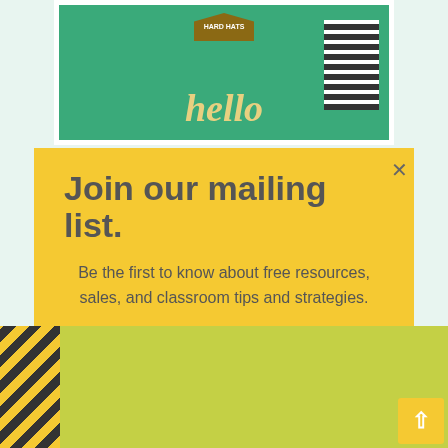[Figure (photo): Classroom decoration background with green chalkboard, 'hello' text, and hard hats required sign]
Join our mailing list.
Be the first to know about free resources, sales, and classroom tips and strategies.
[Figure (screenshot): Email address input field with mint green background]
[Figure (screenshot): Subscribe button with grey background]
[Figure (photo): People wearing yellow safety vests and hard hats at bottom of page]